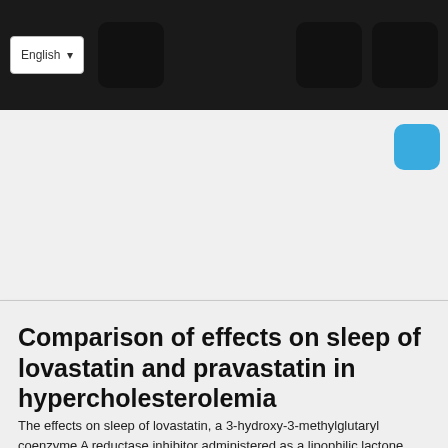English
Comparison of effects on sleep of lovastatin and pravastatin in hypercholesterolemia
The effects on sleep of lovastatin, a 3-hydroxy-3-methylglutaryl coenzyme A reductase inhibitor administered as a lipophilic lactone prodrug, and pravastatin, an inhibitor administered in its active, hydrophilic, open-acid form, were compared by polysomnographic sleep monitoring. Twenty-four men wit... Full description